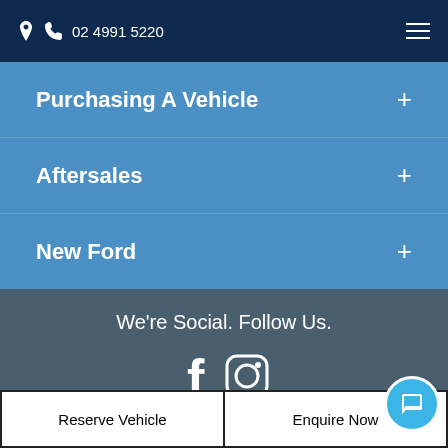📍 📞 02 4991 5220
Purchasing A Vehicle
Aftersales
New Ford
We're Social. Follow Us.
[Figure (logo): Hunter City Motor Group logo with H emblem in circle]
Reserve Vehicle
Enquire Now